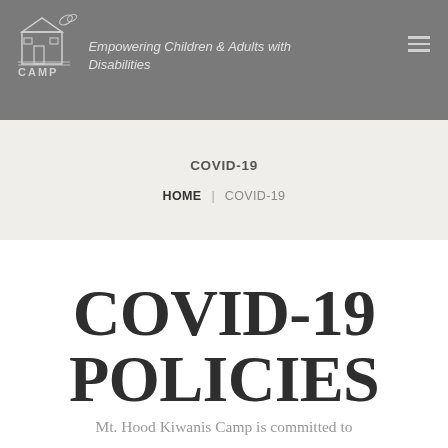[Figure (logo): Mt. Hood Kiwanis Camp logo with small house/camp icon and butterfly, white on gray background]
Empowering Children & Adults with Disabilities
COVID-19
HOME | COVID-19
COVID-19 POLICIES
Mt. Hood Kiwanis Camp is committed to